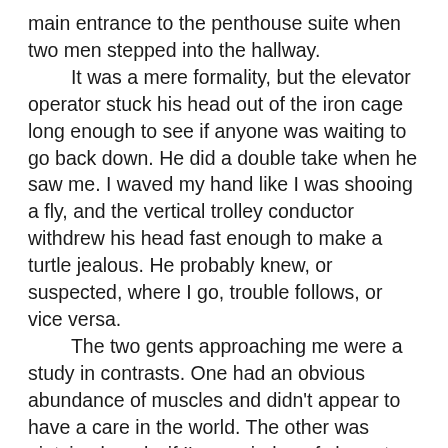main entrance to the penthouse suite when two men stepped into the hallway. It was a mere formality, but the elevator operator stuck his head out of the iron cage long enough to see if anyone was waiting to go back down. He did a double take when he saw me. I waved my hand like I was shooing a fly, and the vertical trolley conductor withdrew his head fast enough to make a turtle jealous. He probably knew, or suspected, where I go, trouble follows, or vice versa. The two gents approaching me were a study in contrasts. One had an obvious abundance of muscles and didn't appear to have a care in the world. The other was pintsized, and—if I'm any judge of character—despite his wooden expression was about as nervous as a rocking chair in a room full of termites. I opened the door with a passkey and ushered the disparate duo into the swanky interior. I didn't waste any time or words. With my footsteps muffled by a thick carpet, I led the way to an interior door. Looking back to see if the other two had followed, I lightly bumped by knuckles against the highly polished